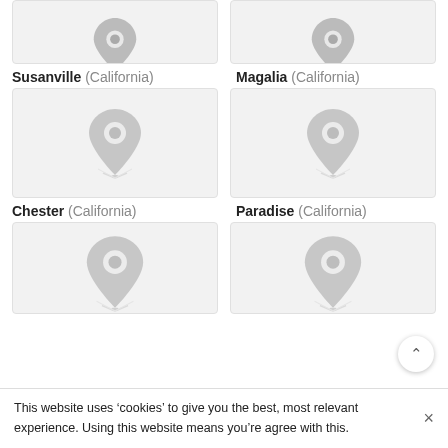[Figure (screenshot): Top partial map thumbnail - left (cut off at top)]
[Figure (screenshot): Top partial map thumbnail - right (cut off at top)]
Susanville (California)
Magalia (California)
[Figure (screenshot): Map placeholder thumbnail with grey location pin icon for Susanville]
[Figure (screenshot): Map placeholder thumbnail with grey location pin icon for Magalia]
Chester (California)
Paradise (California)
[Figure (screenshot): Map placeholder thumbnail with grey location pin icon for Chester (partially visible)]
[Figure (screenshot): Map placeholder thumbnail with grey location pin icon for Paradise (partially visible)]
This website uses ‘cookies’ to give you the best, most relevant experience. Using this website means you’re agree with this.